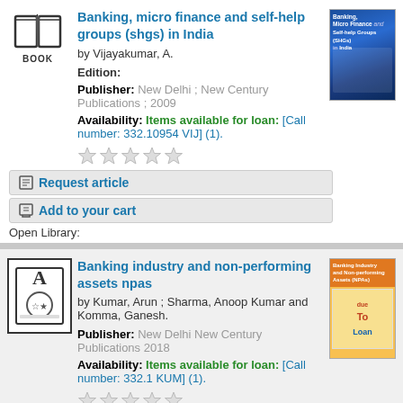[Figure (illustration): Book icon with open pages and text BOOK below]
Banking, micro finance and self-help groups (shgs) in India
by Vijayakumar, A.
Edition:
Publisher: New Delhi ; New Century Publications ; 2009
Availability: Items available for loan: [Call number: 332.10954 VIJ] (1).
[Figure (illustration): Book cover: Banking, Micro Finance and Self-help Groups (SHGs) in India]
Request article
Add to your cart
Open Library:
[Figure (illustration): Book/document icon with grid pattern]
Banking industry and non-performing assets npas
by Kumar, Arun ; Sharma, Anoop Kumar and Komma, Ganesh.
Publisher: New Delhi New Century Publications 2018
Availability: Items available for loan: [Call number: 332.1 KUM] (1).
[Figure (illustration): Book cover: Banking Industry and Non-performing Assets (NPAs)]
Request article
Add to your cart